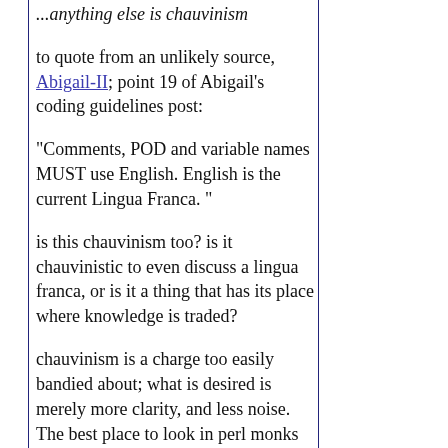...anything else is chauvinism
to quote from an unlikely source, Abigail-II; point 19 of Abigail's coding guidelines post:
"Comments, POD and variable names MUST use English. English is the current Lingua Franca. "
is this chauvinism too? is it chauvinistic to even discuss a lingua franca, or is it a thing that has its place where knowledge is traded?
chauvinism is a charge too easily bandied about; what is desired is merely more clarity, and less noise. The best place to look in perl monks for code is an already an issue: with separate languages for each